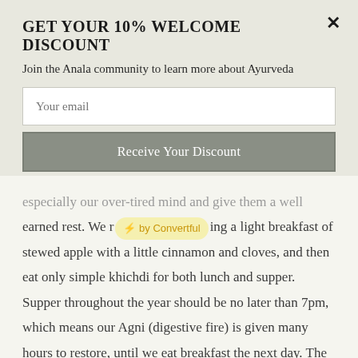GET YOUR 10% WELCOME DISCOUNT
Join the Anala community to learn more about Ayurveda
Your email [input field]
Receive Your Discount [button]
especially our over-tired mind and give them a well earned rest. We r [⚡ by Convertful] ing a light breakfast of stewed apple with a little cinnamon and cloves, and then eat only simple khichdi for both lunch and supper. Supper throughout the year should be no later than 7pm, which means our Agni (digestive fire) is given many hours to restore, until we eat breakfast the next day. The key to nutritional adjustments in the spring is to avoid heavy, cold and oily foods, and certainly stay clear of ready meals